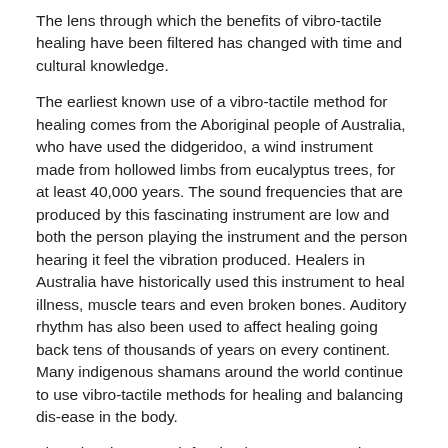The lens through which the benefits of vibro-tactile healing have been filtered has changed with time and cultural knowledge.
The earliest known use of a vibro-tactile method for healing comes from the Aboriginal people of Australia, who have used the didgeridoo, a wind instrument made from hollowed limbs from eucalyptus trees, for at least 40,000 years. The sound frequencies that are produced by this fascinating instrument are low and both the person playing the instrument and the person hearing it feel the vibration produced. Healers in Australia have historically used this instrument to heal illness, muscle tears and even broken bones. Auditory rhythm has also been used to affect healing going back tens of thousands of years on every continent. Many indigenous shamans around the world continue to use vibro-tactile methods for healing and balancing dis-ease in the body.
There has been much fascination, mystery, and acoustic research conducted in the Pyramids of Egypt. Much of the research has resulted in theories that have been used to discern the true purpose of the Pyramids and how they were constructed. There are many differing theories about the construction and purpose of the Pyramids but the one common linking factor is the way the [text continues below]